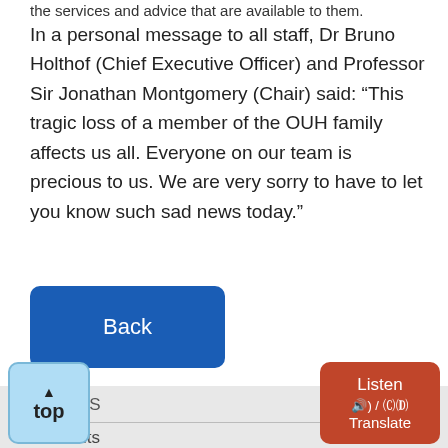the services and advice that are available to them.
In a personal message to all staff, Dr Bruno Holthof (Chief Executive Officer) and Professor Sir Jonathan Montgomery (Chair) said: “This tragic loss of a member of the OUH family affects us all. Everyone on our team is precious to us. We are very sorry to have to let you know such sad news today.”
Back
NEWS
Events
a enquiries